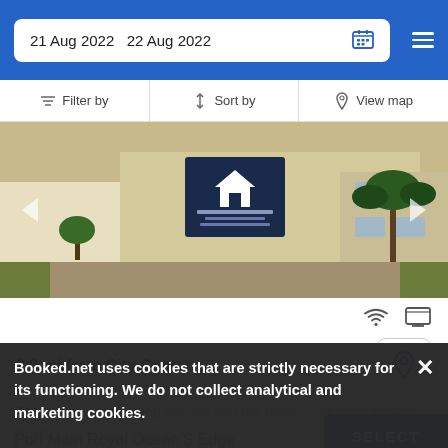21 Aug 2022  22 Aug 2022
Filter by  Sort by  View map
[Figure (photo): Exterior photo of a property with a sign showing M.D. logo and phone numbers +042 294 0408 and +072 767 7712, with lawn and palm trees visible.]
2.0 mi from City Center
There are rooms facing the sea and the hotel is set close to Seal Point.
SELECT
Booked.net uses cookies that are strictly necessary for its functioning. We do not collect analytical and marketing cookies.
Port Main Royal Ocean'S Edge